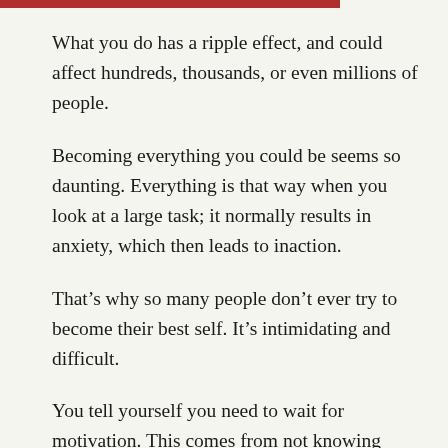What you do has a ripple effect, and could affect hundreds, thousands, or even millions of people.
Becoming everything you could be seems so daunting. Everything is that way when you look at a large task; it normally results in anxiety, which then leads to inaction.
That’s why so many people don’t ever try to become their best self. It’s intimidating and difficult.
You tell yourself you need to wait for motivation. This comes from not knowing